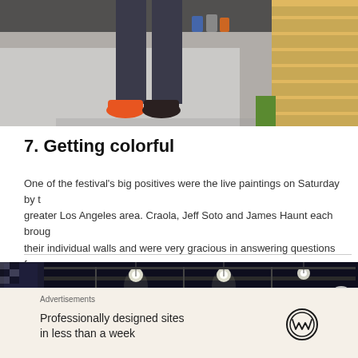[Figure (photo): Bottom half of a person standing on concrete near a wooden platform, wearing colorful sneakers. Paint supplies visible in background.]
7. Getting colorful
One of the festival's big positives were the live paintings on Saturday by the greater Los Angeles area. Craola, Jeff Soto and James Haunt each brough their individual walls and were very gracious in answering questions from
[Figure (photo): Dark indoor venue with stage lighting rigs and spotlights visible against a dark ceiling.]
Advertisements
Professionally designed sites in less than a week